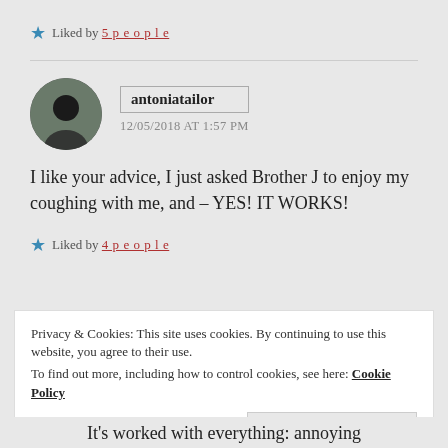★ Liked by 5 people
antoniatailor
12/05/2018 AT 1:57 PM
I like your advice, I just asked Brother J to enjoy my coughing with me, and – YES! IT WORKS!
★ Liked by 4 people
Privacy & Cookies: This site uses cookies. By continuing to use this website, you agree to their use.
To find out more, including how to control cookies, see here: Cookie Policy
Close and accept
It's worked with everything: annoying